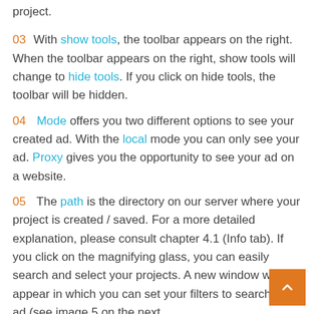project.
03  With show tools, the toolbar appears on the right. When the toolbar appears on the right, show tools will change to hide tools. If you click on hide tools, the toolbar will be hidden.
04  Mode offers you two different options to see your created ad. With the local mode you can only see your ad. Proxy gives you the opportunity to see your ad on a website.
05  The path is the directory on our server where your project is created / saved. For a more detailed explanation, please consult chapter 4.1 (Info tab). If you click on the magnifying glass, you can easily search and select your projects. A new window will appear in which you can set your filters to search your ad (see image 5 on the next